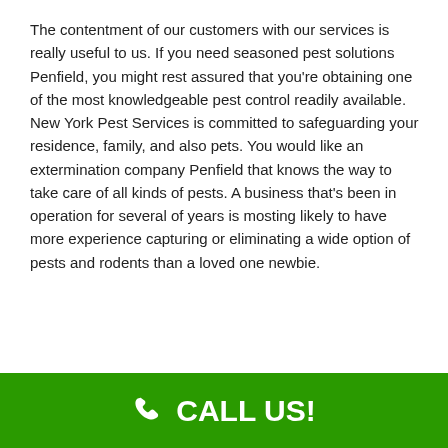The contentment of our customers with our services is really useful to us. If you need seasoned pest solutions Penfield, you might rest assured that you're obtaining one of the most knowledgeable pest control readily available. New York Pest Services is committed to safeguarding your residence, family, and also pets. You would like an extermination company Penfield that knows the way to take care of all kinds of pests. A business that's been in operation for several of years is mosting likely to have more experience capturing or eliminating a wide option of pests and rodents than a loved one newbie.
[Figure (infographic): Call-to-action box with red bold heading 'Find an Exterminator Penfield 24/7 Near You IMMEDIATELY.' and blue phone number '888-408-2399']
CALL US!